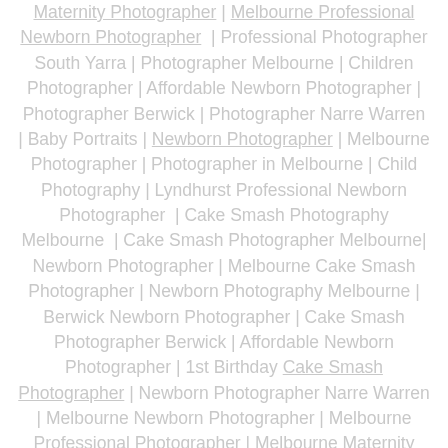Maternity Photographer | Melbourne Professional Newborn Photographer | Professional Photographer South Yarra | Photographer Melbourne | Children Photographer | Affordable Newborn Photographer | Photographer Berwick | Photographer Narre Warren | Baby Portraits | Newborn Photographer | Melbourne Photographer | Photographer in Melbourne | Child Photography | Lyndhurst Professional Newborn Photographer | Cake Smash Photography Melbourne | Cake Smash Photographer Melbourne| Newborn Photographer | Melbourne Cake Smash Photographer | Newborn Photography Melbourne | Berwick Newborn Photographer | Cake Smash Photographer Berwick | Affordable Newborn Photographer | 1st Birthday Cake Smash Photographer | Newborn Photographer Narre Warren | Melbourne Newborn Photographer | Melbourne Professional Photographer | Melbourne Maternity Photographer | Melbourne Kids Photographer |